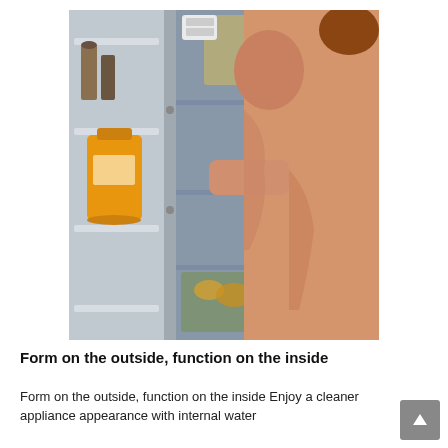[Figure (photo): A woman with her back mostly to the camera reaches into an open side-by-side refrigerator. The refrigerator door shelves on the left show bottles including a large orange juice jug. The interior has a large pitcher or jug on the top shelf, and produce visible in the lower drawers. The woman is wearing a sleeveless pink/salmon top.]
Form on the outside, function on the inside
Form on the outside, function on the inside Enjoy a cleaner appliance appearance with internal water